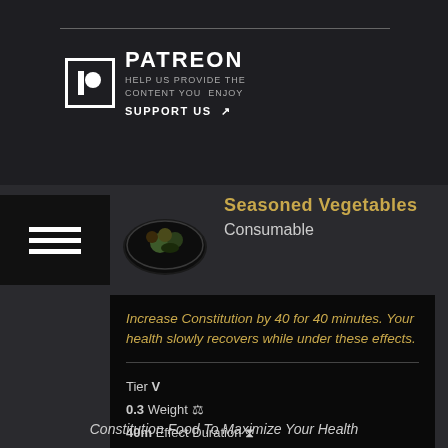[Figure (logo): Patreon logo with text: PATREON, HELP US PROVIDE THE CONTENT YOU ENJOY, SUPPORT US with external link icon]
[Figure (screenshot): Game UI screenshot showing Seasoned Vegetables consumable item with food image on dark plate]
Seasoned Vegetables
Consumable
Increase Constitution by 40 for 40 minutes. Your health slowly recovers while under these effects.
Tier V
0.3 Weight
40m Effect Duration
Requirement: Level 60
Constitution Food To Maximize Your Health